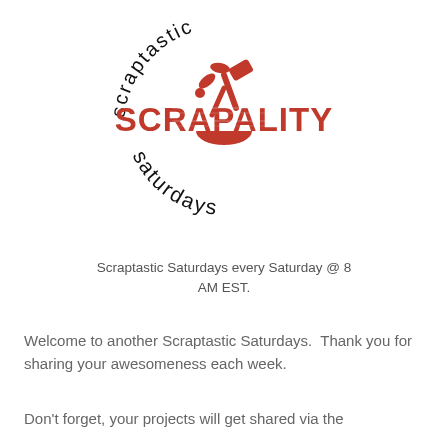[Figure (logo): Scrapality Scraptastic Saturdays logo — circular text 'scraptastic' arching over top and 'saturdays' arching along bottom, with bold red distressed text 'SCRAPALITY' in center, and red craft tools (hammer, scissors, spoon/bowl) icon above it]
Scraptastic Saturdays every Saturday @ 8 AM EST.
Welcome to another Scraptastic Saturdays.  Thank you for sharing your awesomeness each week.
Don't forget, your projects will get shared via the